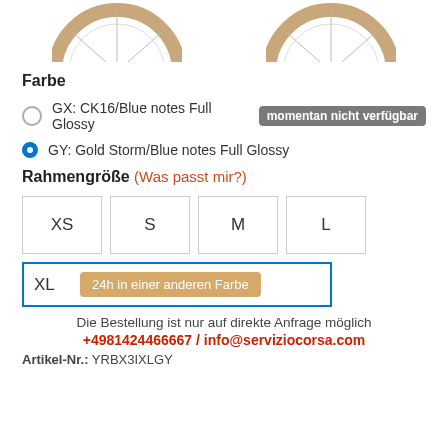[Figure (illustration): Two bicycle wheels shown from the top, partially cropped]
Farbe
GX: CK16/Blue notes Full Glossy  momentan nicht verfügbar
GY: Gold Storm/Blue notes Full Glossy (selected)
Rahmengröße (Was passt mir?)
XS
S
M
L
XL  24h in einer anderen Farbe
Die Bestellung ist nur auf direkte Anfrage möglich
+4981424466667 / info@serviziocorsa.com
Artikel-Nr.: YRBX3IXLGY